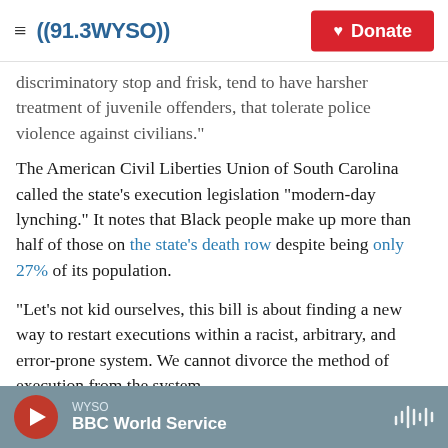((91.3 WYSO)) | Donate
discriminatory stop and frisk, tend to have harsher treatment of juvenile offenders, that tolerate police violence against civilians."
The American Civil Liberties Union of South Carolina called the state's execution legislation "modern-day lynching." It notes that Black people make up more than half of those on the state's death row despite being only 27% of its population.
"Let's not kid ourselves, this bill is about finding a new way to restart executions within a racist, arbitrary, and error-prone system. We cannot divorce the method of execution from the system
WYSO | BBC World Service